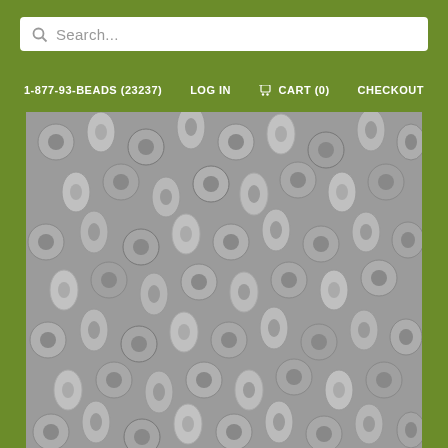Search...
1-877-93-BEADS (23237)  LOG IN  CART (0)  CHECKOUT
[Figure (photo): Close-up photograph of many small cylindrical glass seed beads (Delica-style beads) in gray/silver tones, scattered and overlapping, filling the entire image area.]